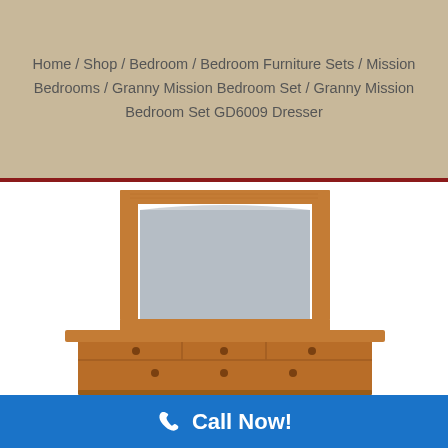Home / Shop / Bedroom / Bedroom Furniture Sets / Mission Bedrooms / Granny Mission Bedroom Set / Granny Mission Bedroom Set GD6009 Dresser
[Figure (photo): A wooden Mission-style dresser with a large rectangular mirror framed in warm oak/cherry wood. The dresser has multiple drawers visible at the bottom with small round knobs. The mirror has a slightly arched top edge and reflects a light grey background.]
Call Now!